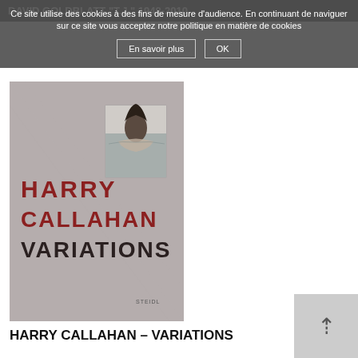DAVID GOLDBLATT "T.J." 1948-2010
Ce site utilise des cookies à des fins de mesure d'audience. En continuant de naviguer sur ce site vous acceptez notre politique en matière de cookies
[Figure (photo): Book cover of 'Harry Callahan Variations' published by Steidl. Gray linen cover with red uppercase text reading HARRY CALLAHAN and dark text reading VARIATIONS, with a small inset black-and-white photograph of a woman (Mona Lisa pose) in water.]
HARRY CALLAHAN – VARIATIONS